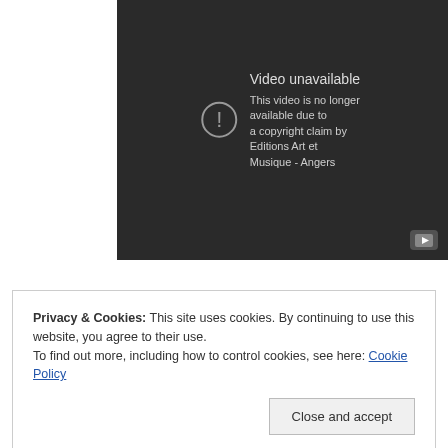[Figure (screenshot): YouTube video player showing 'Video unavailable' error message. Dark background with exclamation circle icon and text: 'This video is no longer available due to a copyright claim by Editions Art et Musique - Angers'. YouTube logo icon in bottom right corner.]
Privacy & Cookies: This site uses cookies. By continuing to use this website, you agree to their use.
To find out more, including how to control cookies, see here: Cookie Policy